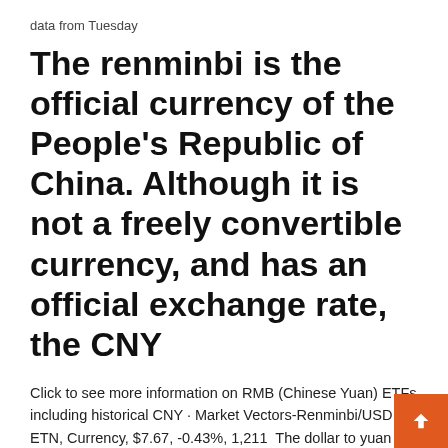data from Tuesday
The renminbi is the official currency of the People's Republic of China. Although it is not a freely convertible currency, and has an official exchange rate, the CNY
Click to see more information on RMB (Chinese Yuan) ETFs including historical CNY · Market Vectors-Renminbi/USD ETN, Currency, $7.67, -0.43%, 1,211  The dollar to yuan conversion is how many Chinese yuan you can buy with a U.S. dollar. Ch... That means you would receive 7.05 renminbi in exchange one dollar. Investors purchase dollars and Treasury notes as a